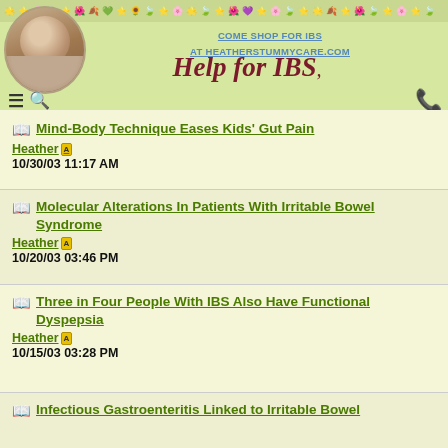COME SHOP FOR IBS AT HEATHERSTUMMYCARE.COM
[Figure (logo): Help for IBS website logo with decorative script text and floral border]
Mind-Body Technique Eases Kids' Gut Pain
Heather
10/30/03 11:17 AM
Molecular Alterations In Patients With Irritable Bowel Syndrome
Heather
10/20/03 03:46 PM
Three in Four People With IBS Also Have Functional Dyspepsia
Heather
10/15/03 03:28 PM
Infectious Gastroenteritis Linked to Irritable Bowel...